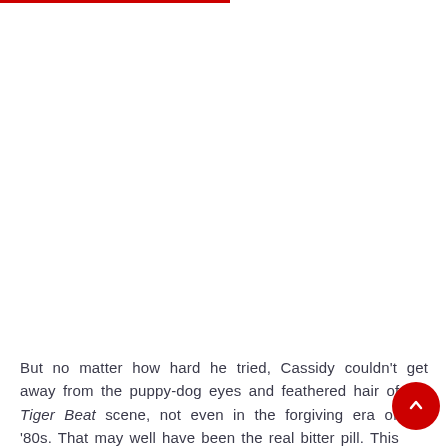But no matter how hard he tried, Cassidy couldn't get away from the puppy-dog eyes and feathered hair of the Tiger Beat scene, not even in the forgiving era of the '80s. That may well have been the real bitter pill. This